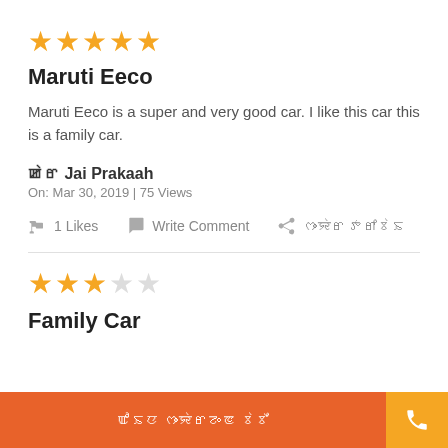[Figure (other): 5 filled orange stars rating]
Maruti Eeco
Maruti Eeco is a super and very good car. I like this car this is a family car.
ꯀꯥꯔ Jai Prakaah
On: Mar 30, 2019 | 75 Views
1 Likes   Write Comment   ꯁꯦꯌꯥꯔ ꯇꯔꯤꯕꯥꯏ
[Figure (other): 3 filled orange stars and 2 empty stars rating]
Family Car
ꯑꯣꯏꯅ ꯁꯦꯌꯥꯔꯖꯦꯟ ꯕꯥꯕꯩ   (phone button)